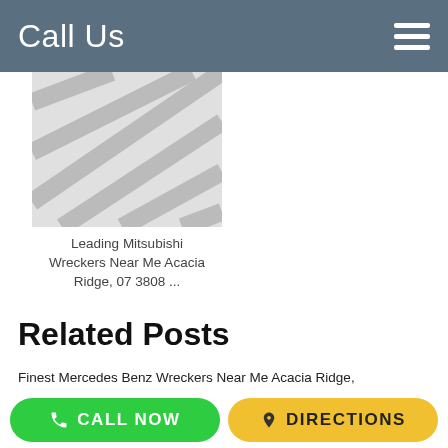Call Us
[Figure (photo): Placeholder thumbnail image with diagonal gray lines pattern]
Leading Mitsubishi Wreckers Near Me Acacia Ridge, 07 3808 ...
Related Posts
Finest Mercedes Benz Wreckers Near Me Acacia Ridge, 07 3808...
.  Ideal Mercedes Benz Wreckers Near Me Acacia Ridge Call 07 3808 1006 Or Go To https://www.underwoodwrecking.com/...
Leading Mercedes Benz Wreckers Acacia Ridge QLD, 07 3808 1...
. Leading Mercedes Benz Wreckers Acacia Ridge QLD Call